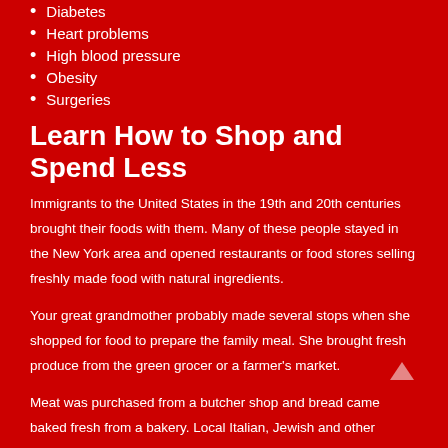Diabetes
Heart problems
High blood pressure
Obesity
Surgeries
Learn How to Shop and Spend Less
Immigrants to the United States in the 19th and 20th centuries brought their foods with them. Many of these people stayed in the New York area and opened restaurants or food stores selling freshly made food with natural ingredients.
Your great grandmother probably made several stops when she shopped for food to prepare the family meal. She brought fresh produce from the green grocer or a farmer's market.
Meat was purchased from a butcher shop and bread came baked fresh from a bakery. Local Italian, Jewish and other